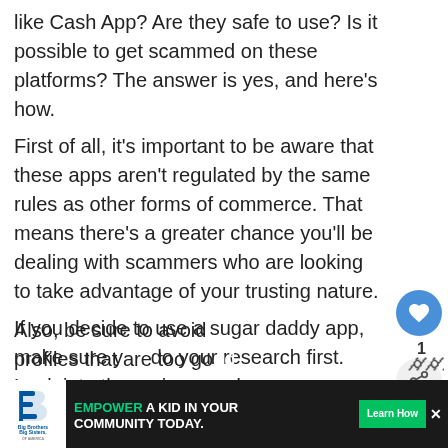like Cash App? Are they safe to use? Is it possible to get scammed on these platforms? The answer is yes, and here's how.
First of all, it's important to be aware that these apps aren't regulated by the same rules as other forms of commerce. That means there's a greater chance you'll be dealing with scammers who are looking to take advantage of your trusting nature.
If you decide to use a sugar daddy app, make sure you do your research first. Look into the reviews and see if anyone has reported any scams or suspicious
Also, be sure to avoid profiles that are too good to be true — they almost certainly are!
[Figure (infographic): WHAT'S NEXT arrow label with thumbnail image and text 'What happens if you delete...']
[Figure (infographic): Advertisement banner: Big Brothers Big Sisters logo, text 'EMPOWER A KID IN YOUR COMMUNITY TODAY.' with green Learn How button and X close button]